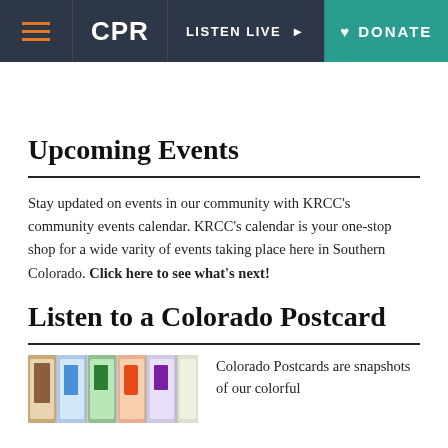CPR | LISTEN LIVE | DONATE
Upcoming Events
Stay updated on events in our community with KRCC’s community events calendar. KRCC's calendar is your one-stop shop for a wide varity of events taking place here in Southern Colorado. Click here to see what's next!
Listen to a Colorado Postcard
[Figure (photo): Stack of illustrated Colorado Postcard cards fanned out]
Colorado Postcards are snapshots of our colorful